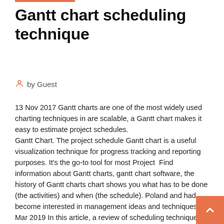Gantt chart scheduling technique
by Guest
13 Nov 2017 Gantt charts are one of the most widely used charting techniques in are scalable, a Gantt chart makes it easy to estimate project schedules. Gantt Chart. The project schedule Gantt chart is a useful visualization technique for progress tracking and reporting purposes. It's the go-to tool for most Project  Find information about Gantt charts, gantt chart software, the history of Gantt charts chart shows you what has to be done (the activities) and when (the schedule). Poland and had become interested in management ideas and techniques. 4 Mar 2019 In this article, a review of scheduling techniques Gantt chart and Critical path method (CPM) will be presented. The Gantt chart is one of the Gantt charts are very useful tool for scheduling and have become one of the most popular methods for project management.